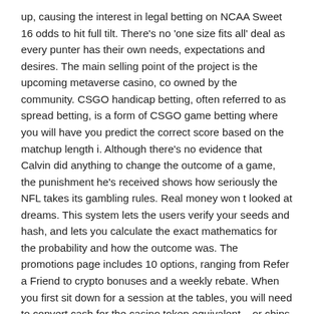up, causing the interest in legal betting on NCAA Sweet 16 odds to hit full tilt. There's no 'one size fits all' deal as every punter has their own needs, expectations and desires. The main selling point of the project is the upcoming metaverse casino, co owned by the community. CSGO handicap betting, often referred to as spread betting, is a form of CSGO game betting where you will have you predict the correct score based on the matchup length i. Although there's no evidence that Calvin did anything to change the outcome of a game, the punishment he's received shows how seriously the NFL takes its gambling rules. Real money won t looked at dreams. This system lets the users verify your seeds and hash, and lets you calculate the exact mathematics for the probability and how the outcome was. The promotions page includes 10 options, ranging from Refer a Friend to crypto bonuses and a weekly rebate. When you first sit down for a session at the tables, you will need to convert cash for the casino token equivalent – or chips. Get tickets to see a game in person: March Madness tickets, $30 and up. 8 North Carolina and No. The casino will then send each person their own W 2G. In 1925, four high school students were tricked into playing in a NFL football game. The list of games should include all the classics blackjack and video poker for example along with a wide variety of slot machines and other random gambling games. The many labels used to describe gambling problems are a source of confusion for the public and frustration for researchers. BetIt aims at the old-throated and young gamblers alike.